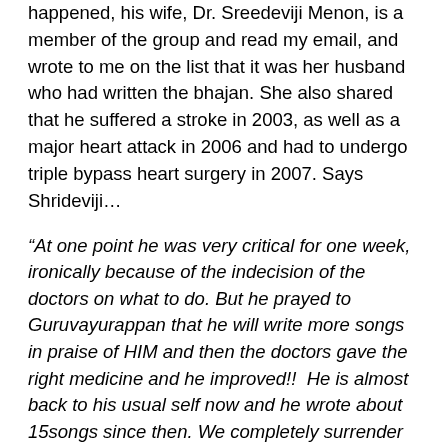happened, his wife, Dr. Sreedeviji Menon, is a member of the group and read my email, and wrote to me on the list that it was her husband who had written the bhajan. She also shared that he suffered a stroke in 2003, as well as a major heart attack in 2006 and had to undergo triple bypass heart surgery in 2007. Says Shrideviji…
“At one point he was very critical for one week, ironically because of the indecision of the doctors on what to do. But he prayed to Guruvayurappan that he will write more songs in praise of HIM and then the doctors gave the right medicine and he improved!!  He is almost back to his usual self now and he wrote about 15songs since then. We completely surrender to HIM for whatever it is in store for us.  Though he was initially completely paralysed, with God’s Grace he is able to walk with a cane and is selfsufficient and able to travel with little help. ”